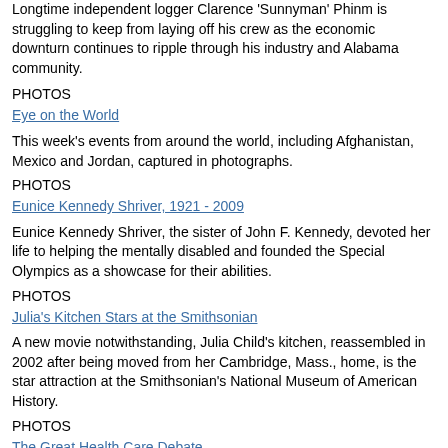Longtime independent logger Clarence 'Sunnyman' Phinm is struggling to keep from laying off his crew as the economic downturn continues to ripple through his industry and Alabama community.
PHOTOS
Eye on the World
This week's events from around the world, including Afghanistan, Mexico and Jordan, captured in photographs.
PHOTOS
Eunice Kennedy Shriver, 1921 - 2009
Eunice Kennedy Shriver, the sister of John F. Kennedy, devoted her life to helping the mentally disabled and founded the Special Olympics as a showcase for their abilities.
PHOTOS
Julia's Kitchen Stars at the Smithsonian
A new movie notwithstanding, Julia Child's kitchen, reassembled in 2002 after being moved from her Cambridge, Mass., home, is the star attraction at the Smithsonian's National Museum of American History.
PHOTOS
The Great Health Care Debate
As members of Congress meet with constituents during the August recess, strong emotions on proposed health reform are turning town hall meetings into demonstrations and shouting matches during a critical month in the debate.
PHOTOS
Hillary Clinton Visits Africa